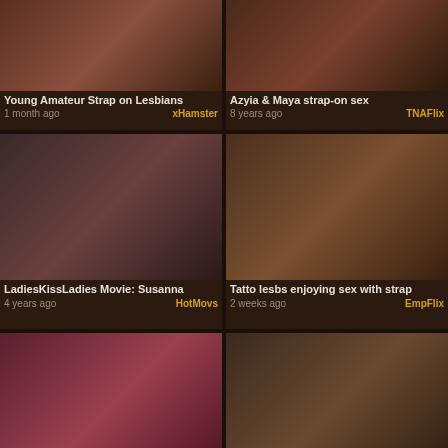[Figure (photo): Video thumbnail - Young Amateur Strap on Lesbians]
Young Amateur Strap on Lesbians
1 month ago   xHamster
[Figure (photo): Video thumbnail - Azyia & Maya strap-on sex]
Azyia & Maya strap-on sex
8 years ago   TNAFlix
[Figure (photo): Video thumbnail - LadiesKissLadies Movie: Susanna]
LadiesKissLadies Movie: Susanna
4 years ago   HotMovs
[Figure (photo): Video thumbnail - Tatto lesbs enjoying sex with strap]
Tatto lesbs enjoying sex with strap
2 weeks ago   EmpFlix
[Figure (photo): Video thumbnail - Mysterious black-haired chick]
Mysterious black-haired chick
5 years ago   AnyPorn
[Figure (photo): Video thumbnail - Great strap-on adventures with the]
Great strap-on adventures with the
5 years ago   BravoTube
[Figure (photo): Video thumbnail bottom left - partial]
[Figure (photo): Video thumbnail bottom right - partial]